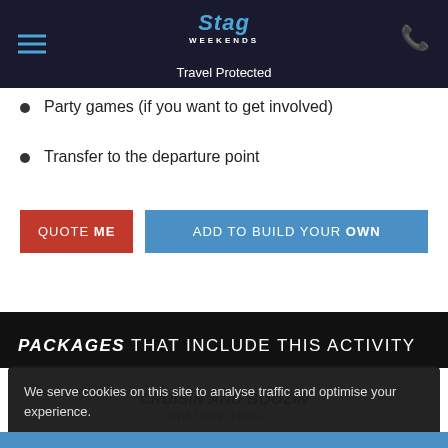Stag Weekends — Travel Protected
Party games (if you want to get involved)
Transfer to the departure point
QUOTE ME | ADD TO BUILD YOUR OWN
PACKAGES THAT INCLUDE THIS ACTIVITY
CRUISIN AND BOOZIN
WHATS INCLUDED...
Boat Party • Club Entry
We serve cookies on this site to analyse traffic and optimise your experience. SEE MORE DETAILS  OK